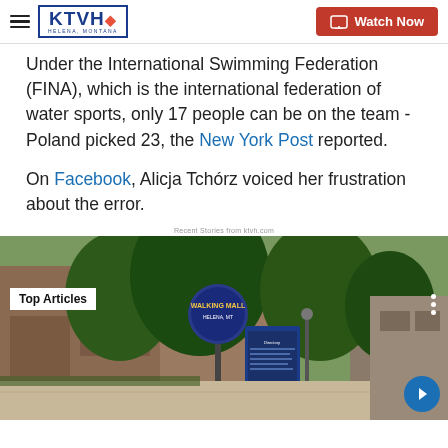KTVH — Watch Now
Under the International Swimming Federation (FINA), which is the international federation of water sports, only 17 people can be on the team - Poland picked 23, the New York Post reported.
On Facebook, Alicja Tchórz voiced her frustration about the error.
Recent Stories from ktvh.com
[Figure (photo): Photo of an outdoor walking mall with brick buildings, trees, and a Walking Mall sign. A 'Top Articles' label appears in the upper left corner of the image.]